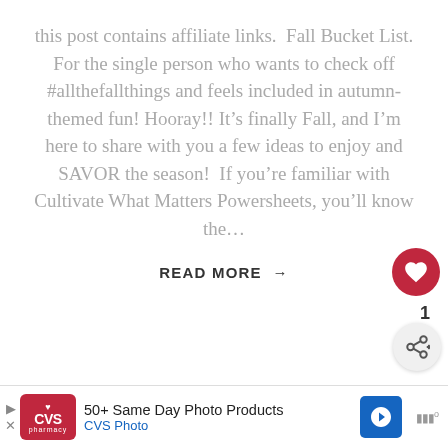this post contains affiliate links.  Fall Bucket List.  For the single person who wants to check off #allthefallthings and feels included in autumn-themed fun! Hooray!! It's finally Fall, and I'm here to share with you a few ideas to enjoy and SAVOR the season!  If you're familiar with Cultivate What Matters Powersheets, you'll know the...
READ MORE →
[Figure (photo): Blurred background photo showing a white fluffy flower or food item on a gray/blue wooden surface, partially visible]
WHAT'S NEXT → Holiday/End-of-Year Prep...
50+ Same Day Photo Products CVS Photo